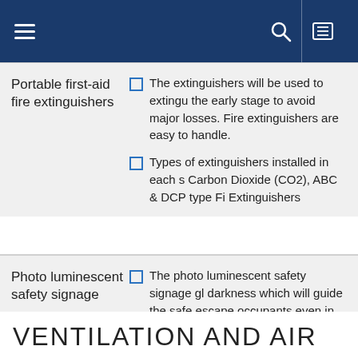Portable first-aid fire extinguishers
The extinguishers will be used to extinguish the fire at the early stage to avoid major losses. Fire extinguishers are easy to handle.
Types of extinguishers installed in each s... Carbon Dioxide (CO2), ABC & DCP type Fi... Extinguishers
Photo luminescent safety signage
The photo luminescent safety signage gl... darkness which will guide the safe escape of occupants even in case of the power sup... failure. This can be also useful to find the of the Fire fighting appliances in case of emergency even in darkness.
VENTILATION AND AIR